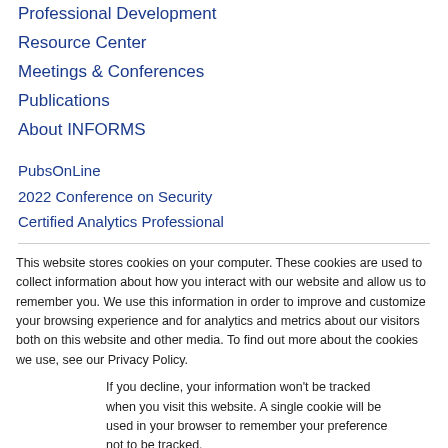Professional Development
Resource Center
Meetings & Conferences
Publications
About INFORMS
PubsOnLine
2022 Conference on Security
Certified Analytics Professional
This website stores cookies on your computer. These cookies are used to collect information about how you interact with our website and allow us to remember you. We use this information in order to improve and customize your browsing experience and for analytics and metrics about our visitors both on this website and other media. To find out more about the cookies we use, see our Privacy Policy.
If you decline, your information won’t be tracked when you visit this website. A single cookie will be used in your browser to remember your preference not to be tracked.